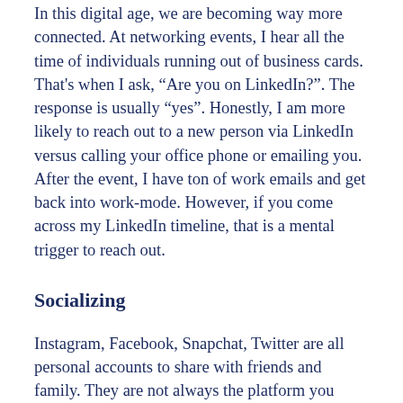In this digital age, we are becoming way more connected. At networking events, I hear all the time of individuals running out of business cards. That's when I ask, “Are you on LinkedIn?”. The response is usually “yes”. Honestly, I am more likely to reach out to a new person via LinkedIn versus calling your office phone or emailing you. After the event, I have ton of work emails and get back into work-mode. However, if you come across my LinkedIn timeline, that is a mental trigger to reach out.
Socializing
Instagram, Facebook, Snapchat, Twitter are all personal accounts to share with friends and family. They are not always the platform you want to add co-workers